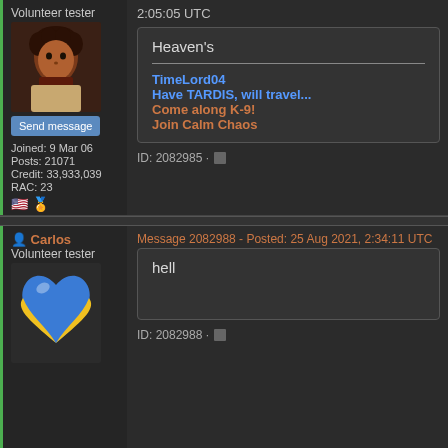2:05:05 UTC
Volunteer tester
[Figure (photo): Avatar photo of a person with curly dark hair]
Send message
Joined: 9 Mar 06
Posts: 21071
Credit: 33,933,039
RAC: 23
Heaven's
TimeLord04
Have TARDIS, will travel...
Come along K-9!
Join Calm Chaos
ID: 2082985
Carlos
Volunteer tester
Message 2082988 - Posted: 25 Aug 2021, 2:34:11 UTC
[Figure (illustration): Blue and yellow heart emoji (Ukraine flag colors)]
hell
ID: 2082988